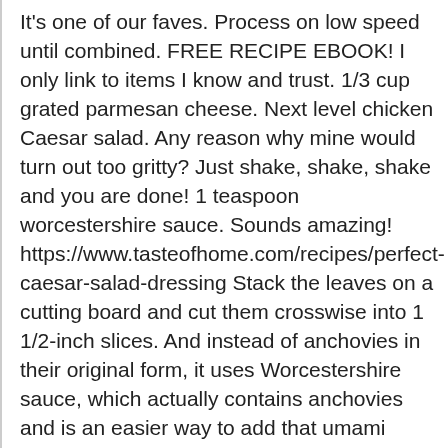It's one of our faves. Process on low speed until combined. FREE RECIPE EBOOK! I only link to items I know and trust. 1/3 cup grated parmesan cheese. Next level chicken Caesar salad. Any reason why mine would turn out too gritty? Just shake, shake, shake and you are done! 1 teaspoon worcestershire sauce. Sounds amazing! https://www.tasteofhome.com/recipes/perfect-caesar-salad-dressing Stack the leaves on a cutting board and cut them crosswise into 1 1/2-inch slices. And instead of anchovies in their original form, it uses Worcestershire sauce, which actually contains anchovies and is an easier way to add that umami flavor and a bit of saltiness. It's small, powerful, and super easy to clean. Made with Greek yogurt, so itâs still creamy and delicious. My favorite is dipping Gardein seven-grain crispy tendersinto it. It